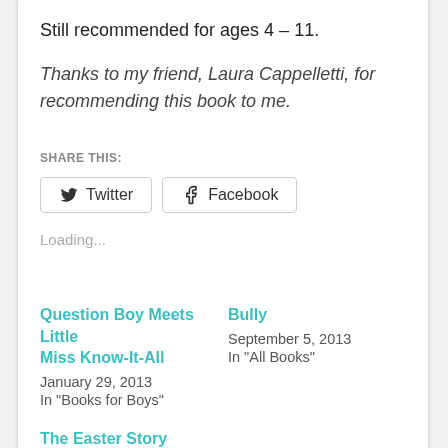Still recommended for ages 4 – 11.
Thanks to my friend, Laura Cappelletti, for recommending this book to me.
SHARE THIS:
[Figure (other): Twitter and Facebook share buttons]
Loading...
Question Boy Meets Little Miss Know-It-All
January 29, 2013
In "Books for Boys"
Bully
September 5, 2013
In "All Books"
The Easter Story
April 17, 2014
In "All Books"